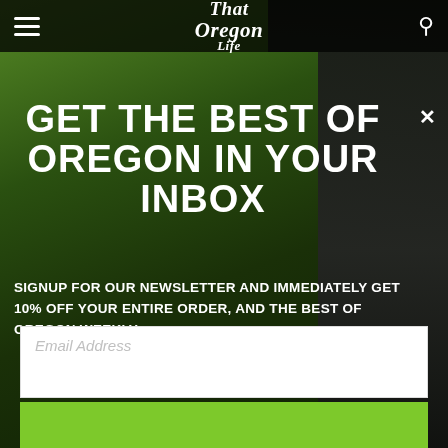[Figure (screenshot): Website screenshot of 'That Oregon Life' with navigation bar at top containing hamburger menu, italic script logo, and search icon. Background shows outdoor nature/forest scene with a person. A newsletter signup modal overlay is displayed.]
GET THE BEST OF OREGON IN YOUR INBOX
SIGNUP FOR OUR NEWSLETTER AND IMMEDIATELY GET 10% OFF YOUR ENTIRE ORDER, AND THE BEST OF OREGON WEEKLY.
Email Address